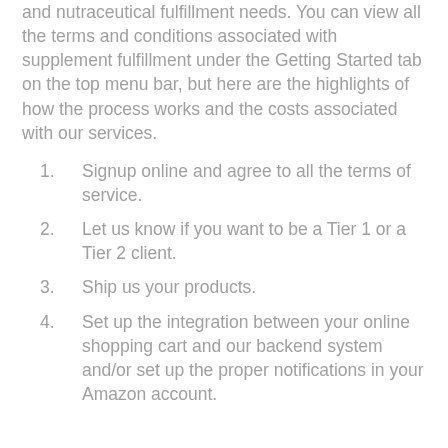and nutraceutical fulfillment needs. You can view all the terms and conditions associated with supplement fulfillment under the Getting Started tab on the top menu bar, but here are the highlights of how the process works and the costs associated with our services.
Signup online and agree to all the terms of service.
Let us know if you want to be a Tier 1 or a Tier 2 client.
Ship us your products.
Set up the integration between your online shopping cart and our backend system and/or set up the proper notifications in your Amazon account.